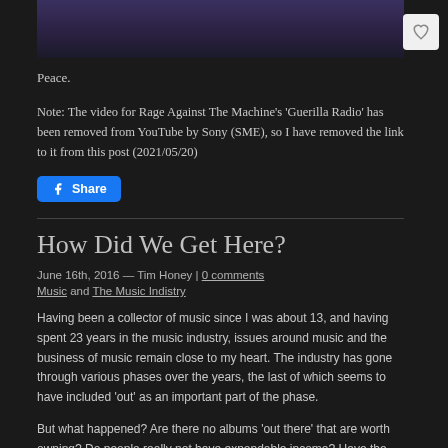[Figure (photo): Dark purple/blue toned photograph strip at top of page, partially visible]
Peace.
Note: The video for Rage Against The Machine's 'Guerilla Radio' has been removed from YouTube by Sony (SME), so I have removed the link to it from this post (2021/05/20)
How Did We Get Here?
June 16th, 2016 — Tim Honey | 0 comments
Music and The Music Indistry
Having been a collector of music since I was about 13, and having spent 23 years in the music industry, issues around music and the business of music remain close to my heart. The industry has gone through various phases over the years, the last of which seems to have included 'out' as an important part of the phase.
But what happened? Are there no albums 'out there' that are worth owning? Do people really not have expendable income? Have the